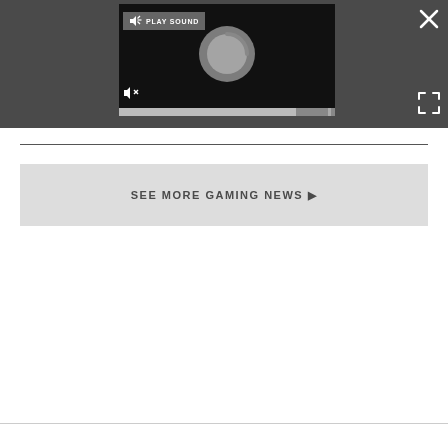[Figure (screenshot): Video player embedded in dark gray bar with PLAY SOUND button, loading spinner, mute button, progress bar, close X button and fullscreen icon]
SEE MORE GAMING NEWS ▶